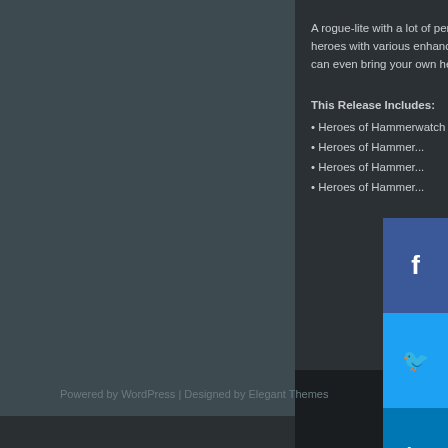A rogue-lite with a lot of persistence and development, where players develop heroes with various enhancements in an effort to reach the top, and you can even bring your own hero...
This Release Includes:
Heroes of Hammerwatch (m...
Heroes of Hammer...
Heroes of Hammer...
Heroes of Hammer...
[Figure (screenshot): Social media share buttons (Facebook, Twitter, LinkedIn, Pinterest) appearing on the right side of the page]
Post a Comment
Powered by WordPress | Designed by Elegant Themes